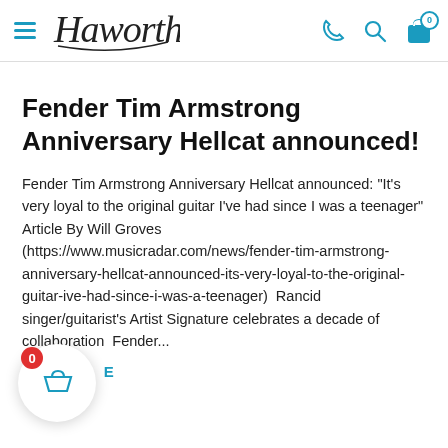Haworth — navigation header with hamburger menu, logo, phone, search, and cart icons
Fender Tim Armstrong Anniversary Hellcat announced!
Fender Tim Armstrong Anniversary Hellcat announced: "It's very loyal to the original guitar I've had since I was a teenager" Article By Will Groves (https://www.musicradar.com/news/fender-tim-armstrong-anniversary-hellcat-announced-its-very-loyal-to-the-original-guitar-ive-had-since-i-was-a-teenager)  Rancid singer/guitarist's Artist Signature celebrates a decade of collaboration  Fender...
READ MORE